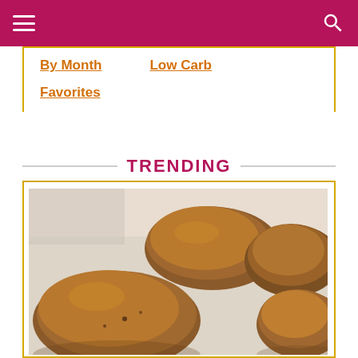Navigation bar with hamburger menu and search icon
By Month
Low Carb
Favorites
TRENDING
[Figure (photo): Baked sweet potatoes on a baking sheet, close-up photo showing golden-brown roasted potatoes]
Baked Sweet Potatoes ♥ Recipe & Temperature